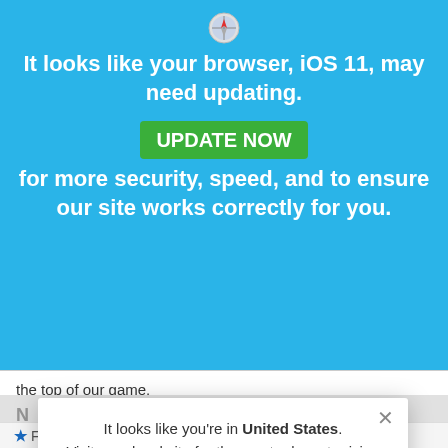[Figure (screenshot): Browser update notification banner in blue. Contains a browser icon (iOS/Safari-like), bold white text: 'It looks like your browser, iOS 11, may need updating.' followed by a green 'UPDATE NOW' button and text 'for more security, speed, and to ensure our site works correctly for you.']
the top of our game.
It looks like you're in United States. Visit your local site for the most relevant pricing and information.
Switch to United States
* First Name